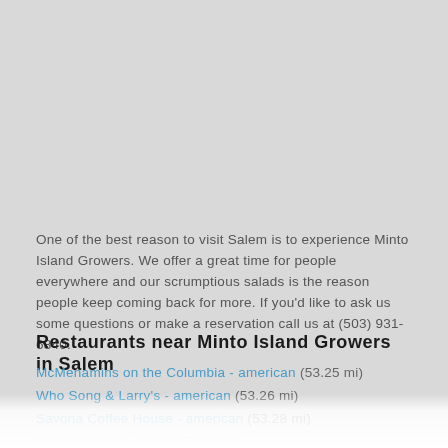One of the best reason to visit Salem is to experience Minto Island Growers. We offer a great time for people everywhere and our scrumptious salads is the reason people keep coming back for more. If you'd like to ask us some questions or make a reservation call us at (503) 931-6840.
Restaurants near Minto Island Growers in Salem
McMenamins on the Columbia - american (53.25 mi)
Who Song & Larry's - american (53.26 mi)
Savona Coffee House - american (53.28 mi)
Mohave Pizza - italian (53.56 mi)
Brewed Cafe & Pub - american (53.57 mi)